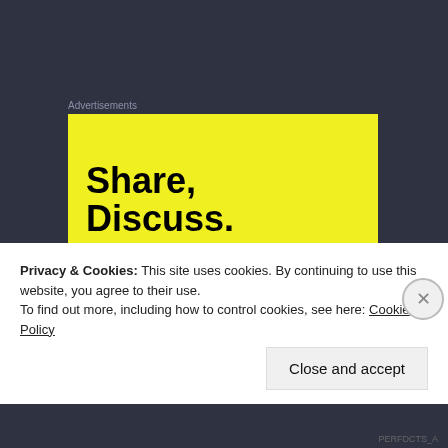Advertisements
[Figure (illustration): Yellow advertisement banner with bold black text reading 'Share, Discuss.']
12. John F. Kennedy (1961-1963)
I give some props for rhetoric and inspiring people but when it comes to actual legislative
Privacy & Cookies: This site uses cookies. By continuing to use this website, you agree to their use.
To find out more, including how to control cookies, see here: Cookie Policy
Close and accept